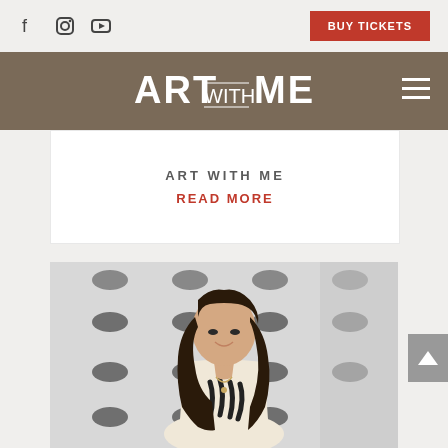Social icons (Facebook, Instagram, YouTube) | BUY TICKETS button
[Figure (logo): ART WITH ME logo in white on brown/tan navigation bar with hamburger menu icon on right]
ART WITH ME
READ MORE
[Figure (photo): Portrait photo of a young woman with long dark wavy hair, smiling, wearing a light pink/cream dress with dark feather design, standing in front of a white wall with dark oval/dot patterns]